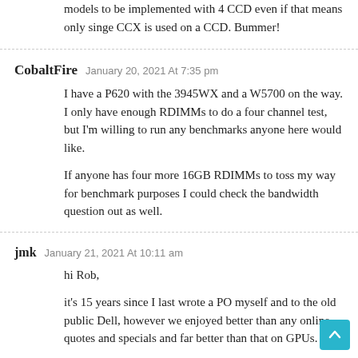models to be implemented with 4 CCD even if that means only singe CCX is used on a CCD. Bummer!
CobaltFire January 20, 2021 At 7:35 pm
I have a P620 with the 3945WX and a W5700 on the way. I only have enough RDIMMs to do a four channel test, but I'm willing to run any benchmarks anyone here would like.
If anyone has four more 16GB RDIMMs to toss my way for benchmark purposes I could check the bandwidth question out as well.
jmk January 21, 2021 At 10:11 am
hi Rob,
it's 15 years since I last wrote a PO myself and to the old public Dell, however we enjoyed better than any online quotes and specials and far better than that on GPUs.